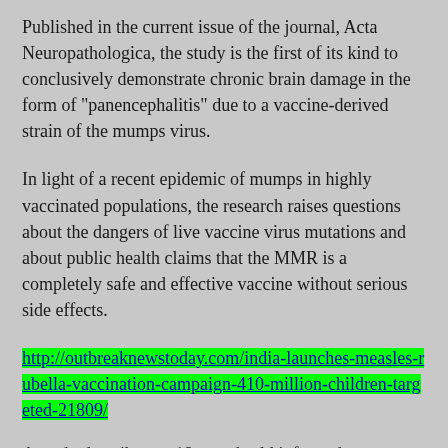Published in the current issue of the journal, Acta Neuropathologica, the study is the first of its kind to conclusively demonstrate chronic brain damage in the form of "panencephalitis" due to a vaccine-derived strain of the mumps virus.
In light of a recent epidemic of mumps in highly vaccinated populations, the research raises questions about the dangers of live vaccine virus mutations and about public health claims that the MMR is a completely safe and effective vaccine without serious side effects.
http://outbreaknewstoday.com/india-launches-measles-rubella-vaccination-campaign-410-million-children-targeted-21809/
A study describes an 18-month-old infant who was diagnosed with